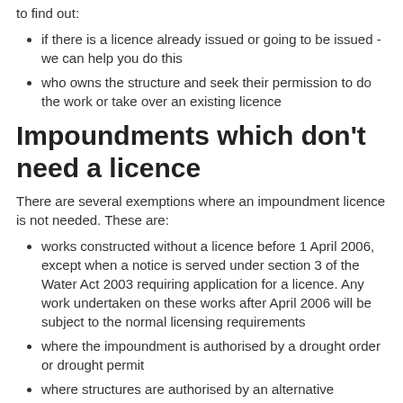to find out:
if there is a licence already issued or going to be issued - we can help you do this
who owns the structure and seek their permission to do the work or take over an existing licence
Impoundments which don't need a licence
There are several exemptions where an impoundment licence is not needed. These are:
works constructed without a licence before 1 April 2006, except when a notice is served under section 3 of the Water Act 2003 requiring application for a licence. Any work undertaken on these works after April 2006 will be subject to the normal licensing requirements
where the impoundment is authorised by a drought order or drought permit
where structures are authorised by an alternative statutory provision (for example an Act of Parliament)